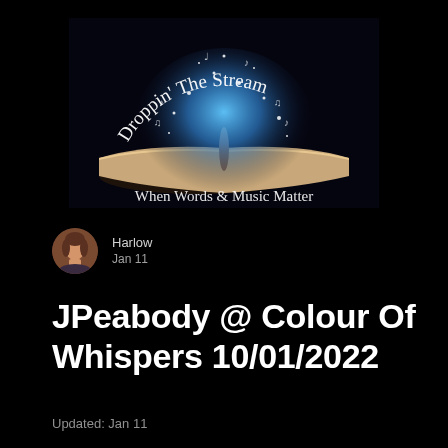[Figure (illustration): Podcast/blog banner image with dark background showing an open book with magical glowing blue light and musical notes emanating from it. Curved text at top reads 'Droppin' The Stream' and bottom text reads 'When Words & Music Matter']
Harlow
Jan 11
JPeabody @ Colour Of Whispers 10/01/2022
Updated: Jan 11